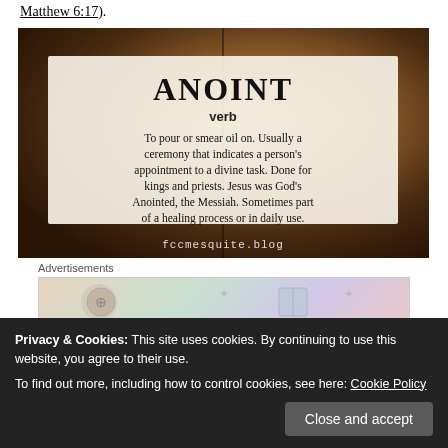Matthew 6:17).
[Figure (illustration): Anoint definition card on a blurred warm book background. Shows title 'ANOINT', part of speech 'verb', and definition text. URL fccmesquite.blog shown at bottom.]
Advertisements
[Figure (illustration): Colorful advertisement banner with book/card icons]
Privacy & Cookies: This site uses cookies. By continuing to use this website, you agree to their use.
To find out more, including how to control cookies, see here: Cookie Policy
[Close and accept button]